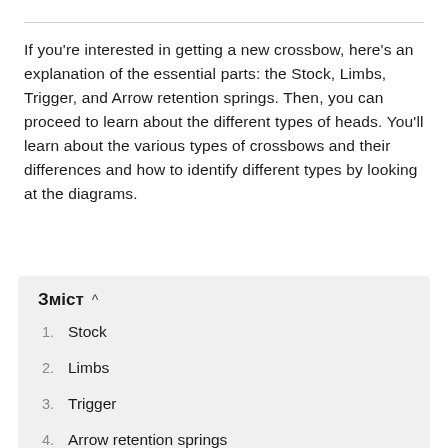If you're interested in getting a new crossbow, here's an explanation of the essential parts: the Stock, Limbs, Trigger, and Arrow retention springs. Then, you can proceed to learn about the different types of heads. You'll learn about the various types of crossbows and their differences and how to identify different types by looking at the diagrams.
Зміст ^
1. Stock
2. Limbs
3. Trigger
4. Arrow retention springs